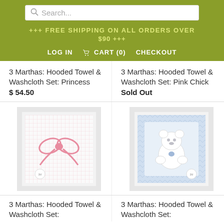[Figure (screenshot): Search bar with magnifying glass icon and placeholder text 'Search...']
+++ FREE SHIPPING ON ALL ORDERS OVER $90 +++
LOG IN  CART (0)  CHECKOUT
3 Marthas: Hooded Towel & Washcloth Set: Princess
$ 54.50
3 Marthas: Hooded Towel & Washcloth Set: Pink Chick
Sold Out
[Figure (photo): Pink bow hooded towel and washcloth set in white box packaging]
[Figure (photo): Blue bear hooded towel and washcloth set in white box packaging]
3 Marthas: Hooded Towel & Washcloth Set:
3 Marthas: Hooded Towel & Washcloth Set: